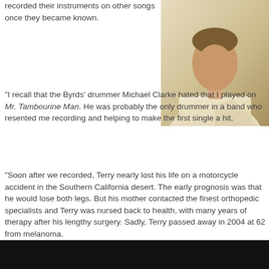recorded their instruments on other songs once they became known.
[Figure (photo): A man in a light beige/cream blazer, photographed from the torso up against a light background.]
"I recall that the Byrds' drummer Michael Clarke hated that I played on Mr. Tambourine Man. He was probably the only drummer in a band who resented me recording and helping to make the first single a hit.
"Soon after we recorded, Terry nearly lost his life on a motorcycle accident in the Southern California desert. The early prognosis was that he would lose both legs. But his mother contacted the finest orthopedic specialists and Terry was nursed back to health, with many years of therapy after his lengthy surgery. Sadly, Terry passed away in 2004 at 62 from melanoma.
[Figure (photo): Dark/black bar at bottom of page, appears to be the top of another photograph.]